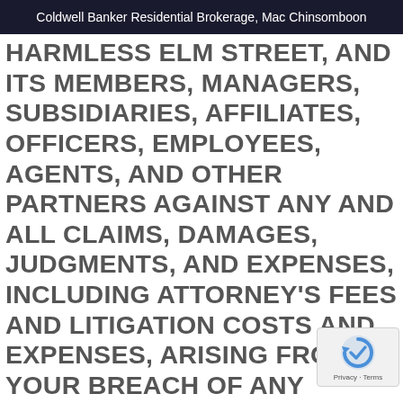Coldwell Banker Residential Brokerage, Mac Chinsomboon
HARMLESS ELM STREET, AND ITS MEMBERS, MANAGERS, SUBSIDIARIES, AFFILIATES, OFFICERS, EMPLOYEES, AGENTS, AND OTHER PARTNERS AGAINST ANY AND ALL CLAIMS, DAMAGES, JUDGMENTS, AND EXPENSES, INCLUDING ATTORNEY'S FEES AND LITIGATION COSTS AND EXPENSES, ARISING FROM YOUR BREACH OF ANY REPRESENTATIONS, WARRANTIES, DUTIES OR OBLIGATIONS MADE OR ASSUMED BY YOU IN THIS AGREEMENT. IN ADDITION TO ANY OTHER LIMITATIONS OR DISCLAIMERS BY ELM STREET IN THIS AGREEMENT, ELM STREET MAKES NO GUARANTEES OR REPRESENTATIONS REGARDING THE SKILLS OR THE QUALITY OF THE SERVICES THAT YOU MAY PROVIDE IF A USER ELECTS TO